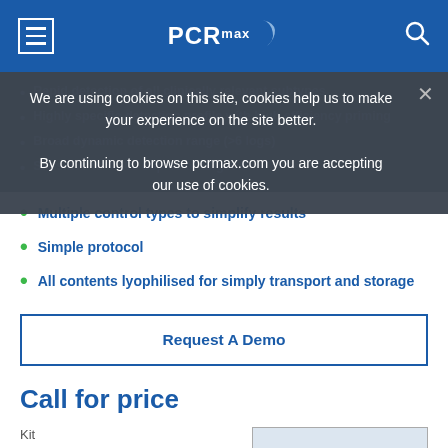PCRmax
Rapid detection of all clinically relevant subtypes
Highly specific detection profile with high efficiency priming
We are using cookies on this site, cookies help us to make your experience on the site better. By continuing to browse pcrmax.com you are accepting our use of cookies.
Broad dynamic detection range (>6 logs)
Sensitive to < 100 copies of target
Multiple control types to simplify results
Simple protocol
All contents lyophilised for simply transport and storage
Request A Demo
Call for price
Kit